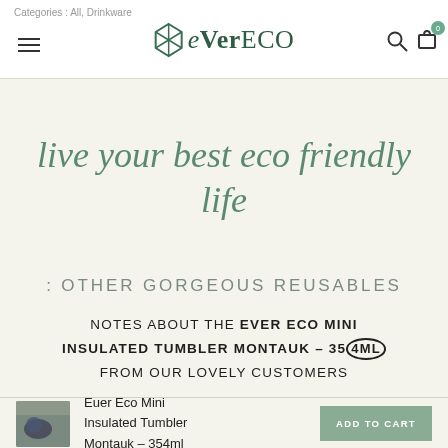Categories : All, Drinkware
live your best eco friendly life
: OTHER GORGEOUS REUSABLES
NOTES ABOUT THE EVER ECO MINI INSULATED TUMBLER MONTAUK - 354ML FROM OUR LOVELY CUSTOMERS
[Figure (other): Product thumbnail image of Ever Eco Mini Insulated Tumbler Montauk]
Euer Eco Mini Insulated Tumbler Montauk - 354ml
ADD TO CART